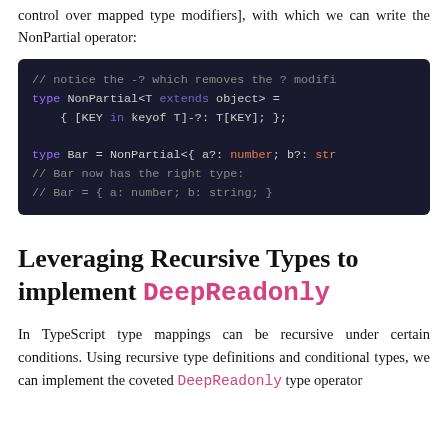control over mapped type modifiers], with which we can write the NonPartial operator:
[Figure (screenshot): Dark-themed code block showing TypeScript NonPartial type definition and Bar type usage with comments]
Leveraging Recursive Types to implement DeepReadonly
In TypeScript type mappings can be recursive under certain conditions. Using recursive type definitions and conditional types, we can implement the coveted DeepReadonly type operator